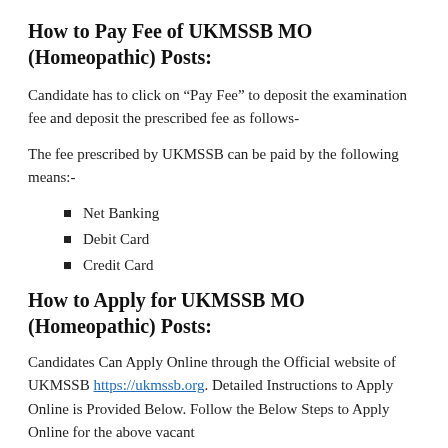How to Pay Fee of UKMSSB MO (Homeopathic) Posts:
Candidate has to click on “Pay Fee” to deposit the examination fee and deposit the prescribed fee as follows-
The fee prescribed by UKMSSB can be paid by the following means:-
Net Banking
Debit Card
Credit Card
How to Apply for UKMSSB MO (Homeopathic) Posts:
Candidates Can Apply Online through the Official website of UKMSSB https://ukmssb.org. Detailed Instructions to Apply Online is Provided Below. Follow the Below Steps to Apply Online for the above vacant